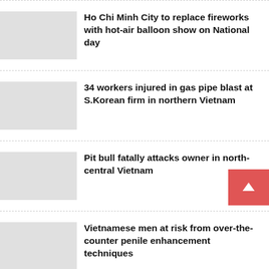Ho Chi Minh City to replace fireworks with hot-air balloon show on National day
34 workers injured in gas pipe blast at S.Korean firm in northern Vietnam
Pit bull fatally attacks owner in north-central Vietnam
Vietnamese men at risk from over-the-counter penile enhancement techniques